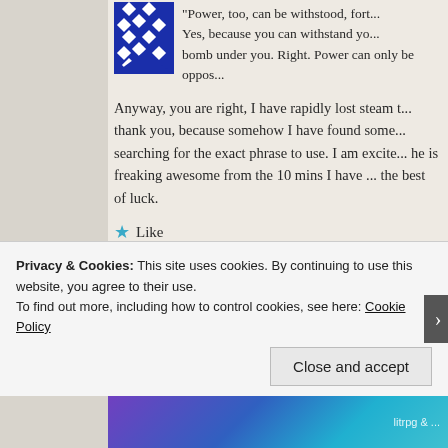“Power, too, can be withstood, fort... Yes, because you can withstand yo... bomb under you. Right. Power can only be oppos...
Anyway, you are right, I have rapidly lost steam t... thank you, because somehow I have found some... searching for the exact phrase to use. I am excite... he is freaking awesome from the 10 mins I have ... the best of luck.
★ Like
Reply ↓
Privacy & Cookies: This site uses cookies. By continuing to use this website, you agree to their use.
To find out more, including how to control cookies, see here: Cookie Policy
Close and accept